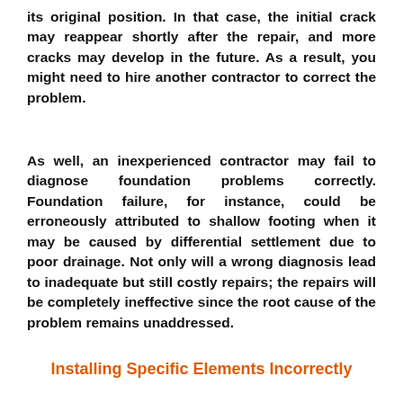its original position. In that case, the initial crack may reappear shortly after the repair, and more cracks may develop in the future. As a result, you might need to hire another contractor to correct the problem.
As well, an inexperienced contractor may fail to diagnose foundation problems correctly. Foundation failure, for instance, could be erroneously attributed to shallow footing when it may be caused by differential settlement due to poor drainage. Not only will a wrong diagnosis lead to inadequate but still costly repairs; the repairs will be completely ineffective since the root cause of the problem remains unaddressed.
Installing Specific Elements Incorrectly